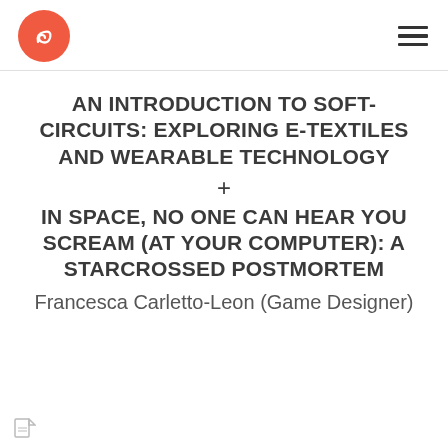AN INTRODUCTION TO SOFT-CIRCUITS: EXPLORING E-TEXTILES AND WEARABLE TECHNOLOGY
+
IN SPACE, NO ONE CAN HEAR YOU SCREAM (AT YOUR COMPUTER): A STARCROSSED POSTMORTEM
Francesca Carletto-Leon (Game Designer)